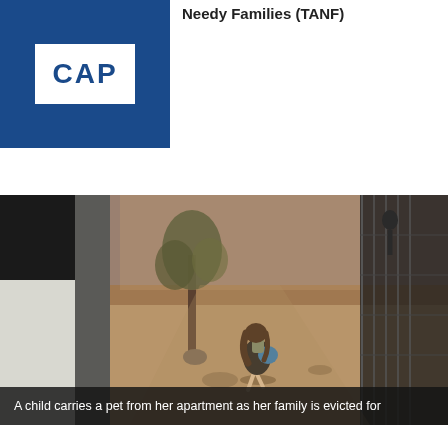[Figure (logo): CAP (Center for American Progress) logo: white box with blue 'CAP' text on dark blue background]
Needy Families (TANF)
[Figure (photo): A child walking away from the camera on a dirt path, carrying a pet and a blue bag, with sparse trees and a chain-link fence visible. Overhead view. Eviction scene.]
A child carries a pet from her apartment as her family is evicted for